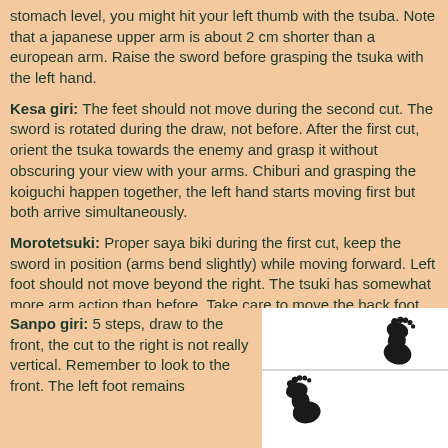stomach level, you might hit your left thumb with the tsuba. Note that a japanese upper arm is about 2 cm shorter than a european arm. Raise the sword before grasping the tsuka with the left hand.
Kesa giri: The feet should not move during the second cut. The sword is rotated during the draw, not before. After the first cut, orient the tsuka towards the enemy and grasp it without obscuring your view with your arms. Chiburi and grasping the koiguchi happen together, the left hand starts moving first but both arrive simultaneously.
Morotetsuki: Proper saya biki during the first cut, keep the sword in position (arms bend slightly) while moving forward. Left foot should not move beyond the right. The tsuki has somewhat more arm action than before. Take care to move the back foot first when turning, and to remain on the line of action. Cut and step together.
Sanpo giri: 5 steps, draw to the front, the cut to the right is not really vertical. Remember to look to the front. The left foot remains
[Figure (illustration): Two black footprint silhouettes on a white background, one near the top-right and one near the bottom-left of the panel, suggesting foot placement/step positions.]